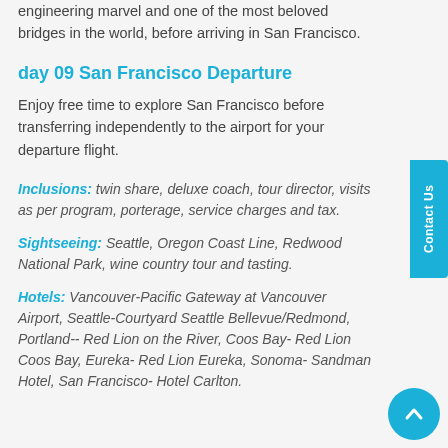engineering marvel and one of the most beloved bridges in the world, before arriving in San Francisco.
day 09 San Francisco Departure
Enjoy free time to explore San Francisco before transferring independently to the airport for your departure flight.
Inclusions: twin share, deluxe coach, tour director, visits as per program, porterage, service charges and tax.
Sightseeing: Seattle, Oregon Coast Line, Redwood National Park, wine country tour and tasting.
Hotels: Vancouver-Pacific Gateway at Vancouver Airport, Seattle-Courtyard Seattle Bellevue/Redmond, Portland-- Red Lion on the River, Coos Bay- Red Lion Coos Bay, Eureka- Red Lion Eureka, Sonoma- Sandman Hotel, San Francisco- Hotel Carlton.